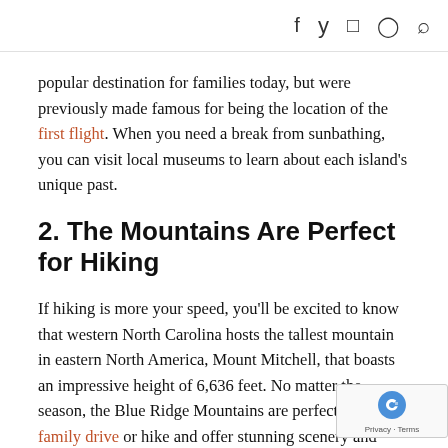f  y  [instagram]  [pinterest]  [search]
popular destination for families today, but were previously made famous for being the location of the first flight. When you need a break from sunbathing, you can visit local museums to learn about each island’s unique past.
2. The Mountains Are Perfect for Hiking
If hiking is more your speed, you’ll be excited to know that western North Carolina hosts the tallest mountain in eastern North America, Mount Mitchell, that boasts an impressive height of 6,636 feet. No matter the season, the Blue Ridge Mountains are perfect for a family drive or hike and offer stunning scenery and countless photo opportunities. Stop at one of the state parks along the way for a picnic and soak up the view.